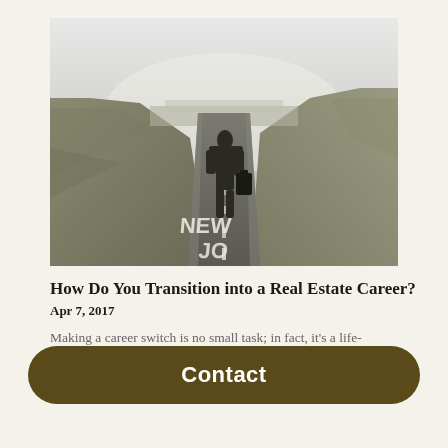[Figure (photo): Black and white photo of a businessman in a suit walking away down a long road into the distance. The words 'NEW JOB' are painted on the road surface in large white letters. Hills and grassy fields flank the road with a city visible in the far background.]
How Do You Transition into a Real Estate Career?
Apr 7, 2017
Making a career switch is no small task; in fact, it's a life-
Contact